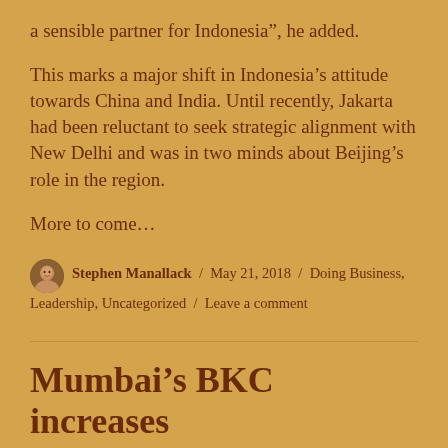a sensible partner for Indonesia”, he added.
This marks a major shift in Indonesia’s attitude towards China and India. Until recently, Jakarta had been reluctant to seek strategic alignment with New Delhi and was in two minds about Beijing’s role in the region.
More to come…
Stephen Manallack / May 21, 2018 / Doing Business, Leadership, Uncategorized / Leave a comment
Mumbai’s BKC increases city profile as financial